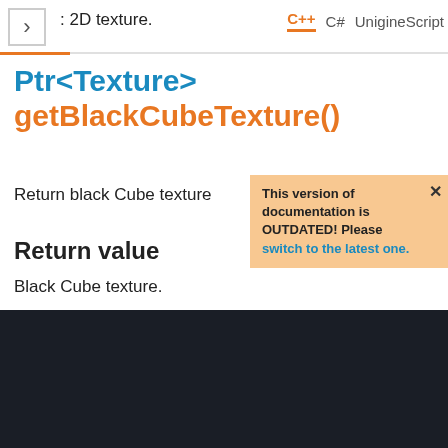: 2D texture.
Ptr<Texture> getBlackCubeTexture()
Return black Cube texture
This version of documentation is OUTDATED! Please switch to the latest one.
Return value
Black Cube texture.
We use cookies to ensure that we give you the best experience on our website. Click here for more information.